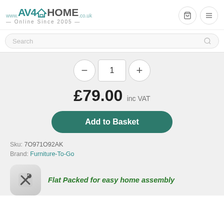[Figure (logo): AV4HOME logo with roof icon, www.av4home.co.uk, Online Since 2005 tagline]
Search
1
£79.00 inc VAT
Add to Basket
Sku: 7O971O92AK
Brand: Furniture-To-Go
[Figure (illustration): Tools/wrench icon for flat packed assembly]
Flat Packed for easy home assembly